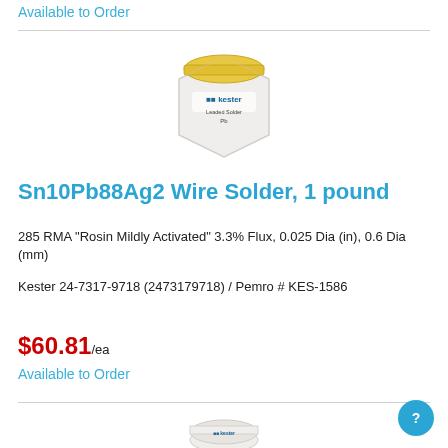Available to Order
[Figure (photo): Kester solder wire spool in a white hexagonal box with yellow lid label, showing 'kester Leaded Solder Pb' text on the front.]
Sn10Pb88Ag2 Wire Solder, 1 pound
285 RMA "Rosin Mildly Activated" 3.3% Flux, 0.025 Dia (in), 0.6 Dia (mm)
Kester 24-7317-9718 (2473179718)  /  Pemro # KES-1586
$60.81/ea
Available to Order
[Figure (photo): Partial view of another Kester solder product at the bottom of the page.]